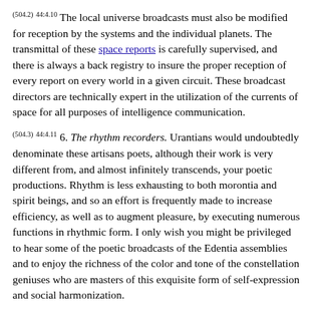(504.2) 44:4.10 The local universe broadcasts must also be modified for reception by the systems and the individual planets. The transmittal of these space reports is carefully supervised, and there is always a back registry to insure the proper reception of every report on every world in a given circuit. These broadcast directors are technically expert in the utilization of the currents of space for all purposes of intelligence communication.
(504.3) 44:4.11 6. The rhythm recorders. Urantians would undoubtedly denominate these artisans poets, although their work is very different from, and almost infinitely transcends, your poetic productions. Rhythm is less exhausting to both morontia and spirit beings, and so an effort is frequently made to increase efficiency, as well as to augment pleasure, by executing numerous functions in rhythmic form. I only wish you might be privileged to hear some of the poetic broadcasts of the Edentia assemblies and to enjoy the richness of the color and tone of the constellation geniuses who are masters of this exquisite form of self-expression and social harmonization.